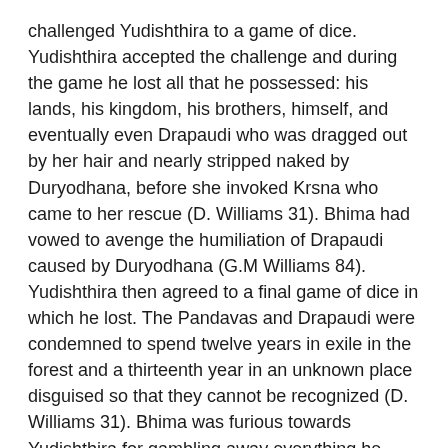challenged Yudishthira to a game of dice. Yudishthira accepted the challenge and during the game he lost all that he possessed: his lands, his kingdom, his brothers, himself, and eventually even Drapaudi who was dragged out by her hair and nearly stripped naked by Duryodhana, before she invoked Krsna who came to her rescue (D. Williams 31). Bhima had vowed to avenge the humiliation of Drapaudi caused by Duryodhana (G.M Williams 84). Yudishthira then agreed to a final game of dice in which he lost. The Pandavas and Drapaudi were condemned to spend twelve years in exile in the forest and a thirteenth year in an unknown place disguised so that they cannot be recognized (D. Williams 31). Bhima was furious towards Yudishthira for gambling away everything he owned.
During the exile, Bhima saved his family from a burning house and subdued demons to stop them from molesting humankind (G.M. Williams 84). One day in the forest Drapaudi found a thousand-petaled golden lotus and asked Bhima to bring her more of these flowers (Lutgendorf 173). Bhima then climbed